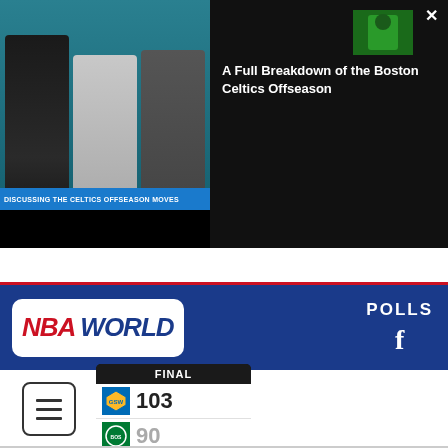[Figure (screenshot): Video player showing NBA TV panel with three hosts discussing Boston Celtics offseason moves. Right side shows thumbnail and title 'A Full Breakdown of the Boston Celtics Offseason' with a close button (X).]
[Figure (logo): NBA World logo banner in blue with red borders. Shows 'NBA WORLD' text with POLLS and Facebook icon on the right.]
[Figure (infographic): Score widget showing FINAL score: Golden State Warriors 103, Boston Celtics 90. Menu/hamburger icon on the left.]